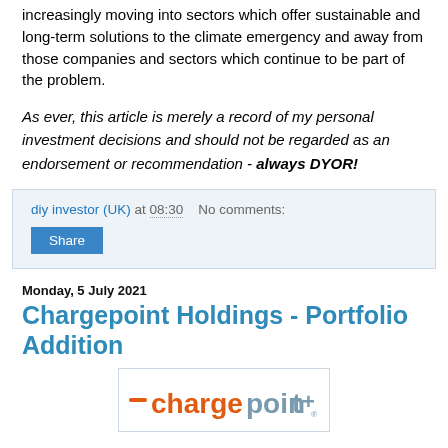increasingly moving into sectors which offer sustainable and long-term solutions to the climate emergency and away from those companies and sectors which continue to be part of the problem.
As ever, this article is merely a record of my personal investment decisions and should not be regarded as an endorsement or recommendation - always DYOR!
diy investor (UK) at 08:30   No comments:
Share
Monday, 5 July 2021
Chargepoint Holdings - Portfolio Addition
[Figure (logo): Chargepoint logo: orange 'charge' text and grey 'point' text with a dash before, forming 'chargepoint' with a registered trademark symbol]